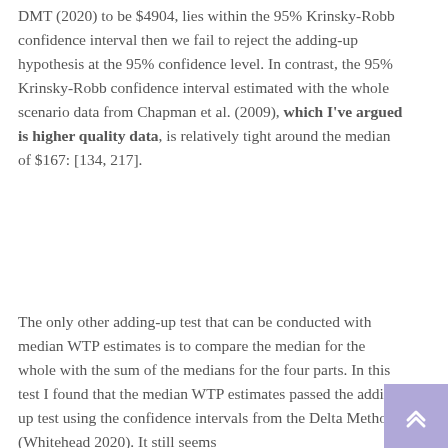DMT (2020) to be $4904, lies within the 95% Krinsky-Robb confidence interval then we fail to reject the adding-up hypothesis at the 95% confidence level. In contrast, the 95% Krinsky-Robb confidence interval estimated with the whole scenario data from Chapman et al. (2009), which I've argued is higher quality data, is relatively tight around the median of $167: [134, 217].
The only other adding-up test that can be conducted with median WTP estimates is to compare the median for the whole with the sum of the medians for the four parts. In this test I found that the median WTP estimates passed the adding up test using the confidence intervals from the Delta Method (Whitehead 2020). It still seems